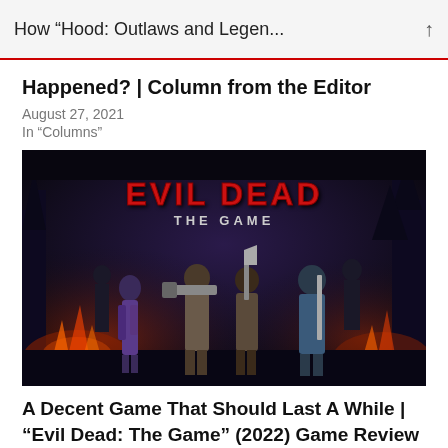How “Hood: Outlaws and Legen... ↑
Happened? | Column from the Editor
August 27, 2021
In “Columns”
[Figure (illustration): Evil Dead: The Game promotional art showing characters with weapons against a dark forest background with the game logo in red at the top]
A Decent Game That Should Last A While | “Evil Dead: The Game” (2022) Game Review
May 16, 2022
In “Game Reviews”